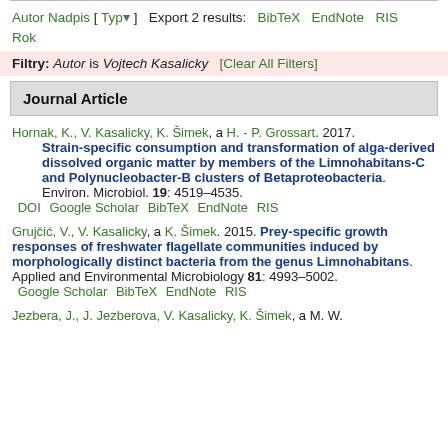Autor Nadpis [ Typ ] Export 2 results: BibTeX EndNote RIS Rok
Filtry: Autor is Vojtech Kasalicky [Clear All Filters]
Journal Article
Hornak, K., V. Kasalicky, K. Šimek, a H. - P. Grossart. 2017. Strain-specific consumption and transformation of alga-derived dissolved organic matter by members of the Limnohabitans-C and Polynucleobacter-B clusters of Betaproteobacteria. Environ. Microbiol. 19: 4519–4535.
DOI Google Scholar BibTeX EndNote RIS
Grujčić, V., V. Kasalicky, a K. Šimek. 2015. Prey-specific growth responses of freshwater flagellate communities induced by morphologically distinct bacteria from the genus Limnohabitans. Applied and Environmental Microbiology 81: 4993–5002.
Google Scholar BibTeX EndNote RIS
Jezbera, J., J. Jezberova, V. Kasalicky, K. Šimek, a M. W.